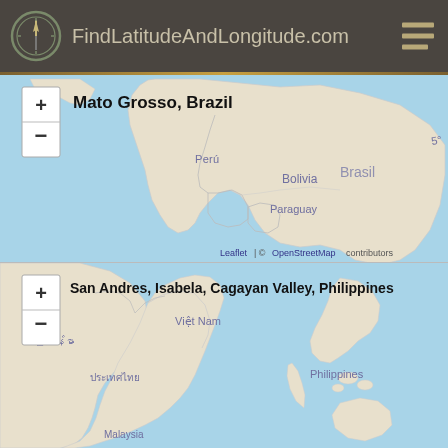FindLatitudeAndLongitude.com
[Figure (map): Map centered on Mato Grosso, Brazil showing South America with labels: Perú, Bolivia, Brasil, Paraguay]
[Figure (map): Map centered on San Andres, Isabela, Cagayan Valley, Philippines showing Southeast Asia with labels: မြန်မာ, Việt Nam, ประเทศไทย, Philippines, Malaysia]